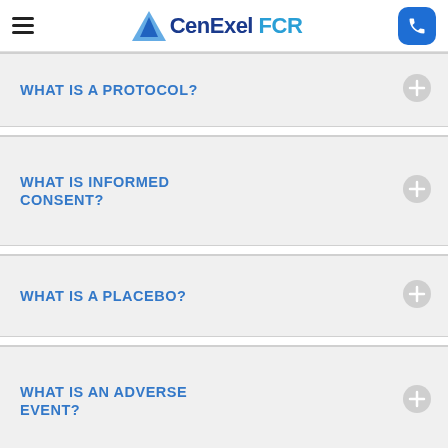CenExel FCR
WHAT IS A PROTOCOL?
WHAT IS INFORMED CONSENT?
WHAT IS A PLACEBO?
WHAT IS AN ADVERSE EVENT?
WHAT SHOULD I KNOW BEFORE PARTICIPATING IN